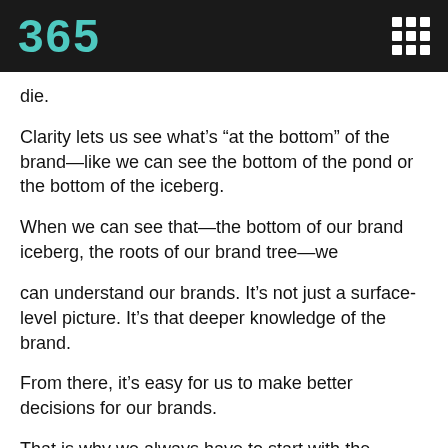365
die.
Clarity lets us see what’s “at the bottom” of the brand—like we can see the bottom of the pond or the bottom of the iceberg.
When we can see that—the bottom of our brand iceberg, the roots of our brand tree—we
can understand our brands. It’s not just a surface-level picture. It’s that deeper knowledge of the brand.
From there, it’s easy for us to make better decisions for our brands.
That is why we always have to start with the